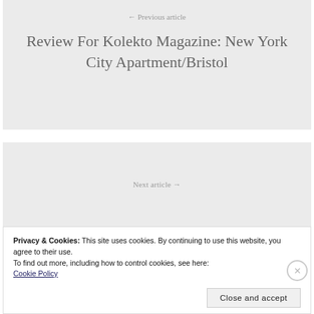← Previous article
Review For Kolekto Magazine: New York City Apartment/Bristol
Next article →
Privacy & Cookies: This site uses cookies. By continuing to use this website, you agree to their use.
To find out more, including how to control cookies, see here: Cookie Policy
Close and accept